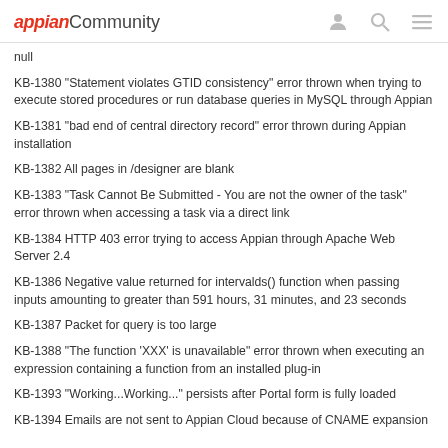appian Community
null
KB-1380 "Statement violates GTID consistency" error thrown when trying to execute stored procedures or run database queries in MySQL through Appian
KB-1381 "bad end of central directory record" error thrown during Appian installation
KB-1382 All pages in /designer are blank
KB-1383 "Task Cannot Be Submitted - You are not the owner of the task" error thrown when accessing a task via a direct link
KB-1384 HTTP 403 error trying to access Appian through Apache Web Server 2.4
KB-1386 Negative value returned for intervalds() function when passing inputs amounting to greater than 591 hours, 31 minutes, and 23 seconds
KB-1387 Packet for query is too large
KB-1388 "The function 'XXX' is unavailable" error thrown when executing an expression containing a function from an installed plug-in
KB-1393 "Working...Working..." persists after Portal form is fully loaded
KB-1394 Emails are not sent to Appian Cloud because of CNAME expansion